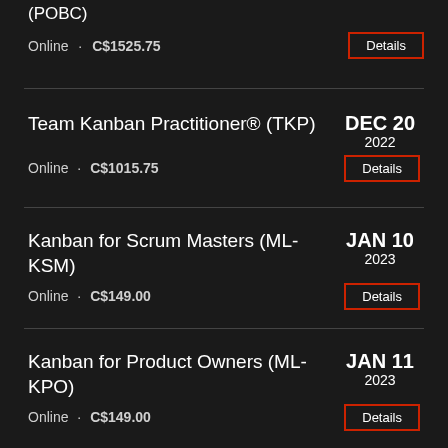(POBC)
Online · C$1525.75
Team Kanban Practitioner® (TKP)
DEC 20
2022
Online · C$1015.75
Kanban for Scrum Masters (ML-KSM)
JAN 10
2023
Online · C$149.00
Kanban for Product Owners (ML-KPO)
JAN 11
2023
Online · C$149.00